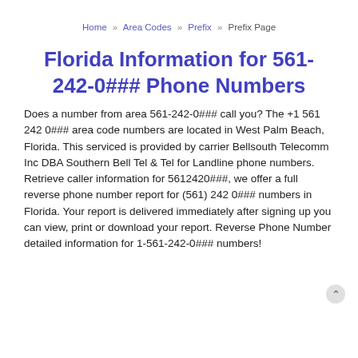Home » Area Codes » Prefix » Prefix Page
Florida Information for 561-242-0### Phone Numbers
Does a number from area 561-242-0### call you? The +1 561 242 0### area code numbers are located in West Palm Beach, Florida. This serviced is provided by carrier Bellsouth Telecomm Inc DBA Southern Bell Tel & Tel for Landline phone numbers.
Retrieve caller information for 5612420###, we offer a full reverse phone number report for (561) 242 0### numbers in Florida. Your report is delivered immediately after signing up you can view, print or download your report. Reverse Phone Number detailed information for 1-561-242-0### numbers!